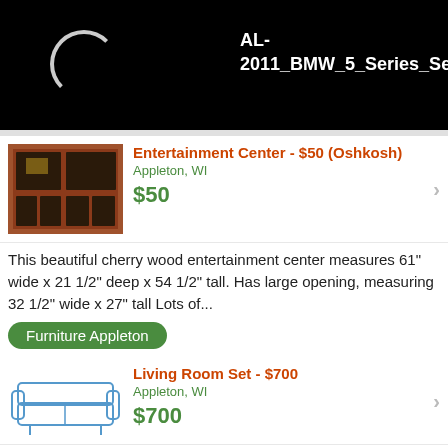[Figure (screenshot): Black background with a loading spinner circle and white bold text reading AL-2011_BMW_5_Series_Sed...]
Entertainment Center - $50 (Oshkosh)
Appleton, WI
$50
This beautiful cherry wood entertainment center measures 61" wide x 21 1/2" deep x 54 1/2" tall. Has large opening, measuring 32 1/2" wide x 27" tall Lots of...
Furniture Appleton
Living Room Set - $700
Appleton, WI
$700
Selling three pieces of Lane living room furniture- got new about 4-5 years ago. Includes reclining sofa, a reclining chair and 1/2, and a